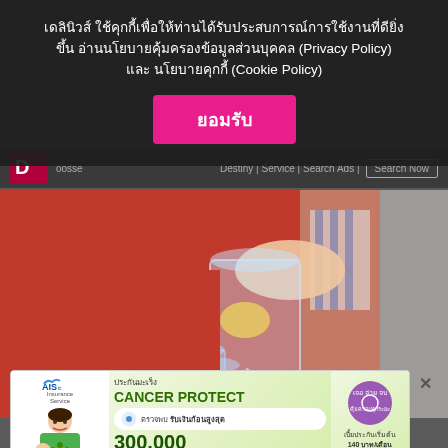เดลินิวส์ ใช้คุกกี้เพื่อให้ท่านได้รับประสบการณ์การใช้งานที่ดียิ่งขึ้น อ่านนโยบายคุ้มครองข้อมูลส่วนบุคคล (Privacy Policy) และ นโยบายคุกกี้ (Cookie Policy)
ยอมรับ
[Figure (photo): Person in red outfit pouring water with lemon from a glass pitcher into a glass]
[Figure (infographic): AIS Insurance Service advertisement for Cancer Protect insurance. Shows: ประกันมะเร็ง CANCER PROTECT, เจอ จ่าย จบ คุ้มครองทุกระยะ, ตรวจพบ รับเงินก้อนสูงสุด 300,000 บาท, เบี้ยประกันเริ่มต้น 140 บาท/เดือน, ดูรายละเอียด button]